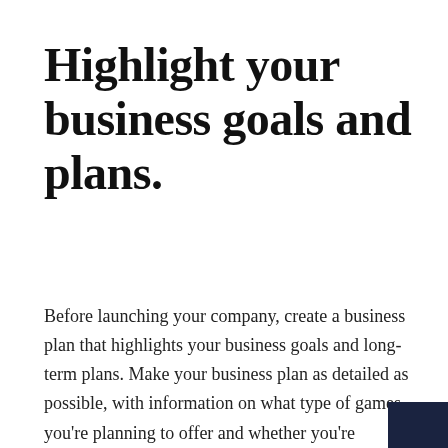Highlight your business goals and plans.
Before launching your company, create a business plan that highlights your business goals and long-term plans. Make your business plan as detailed as possible, with information on what type of games you're planning to offer and whether you're planning to operate online or in a brick-and-mortar store. Nex